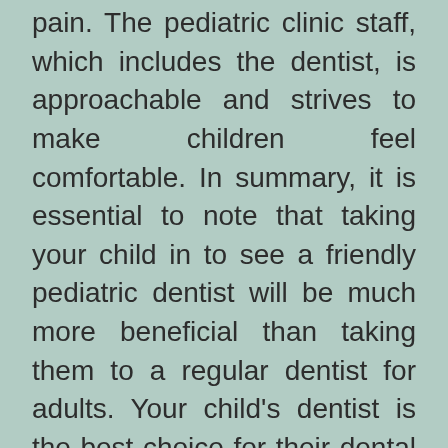pain. The pediatric clinic staff, which includes the dentist, is approachable and strives to make children feel comfortable. In summary, it is essential to note that taking your child in to see a friendly pediatric dentist will be much more beneficial than taking them to a regular dentist for adults. Your child's dentist is the best choice for their dental care. People can use the internet to search for nearby pediatric dentists. In this manner, the child will not fear visiting dentists and will effectively get the treatment.